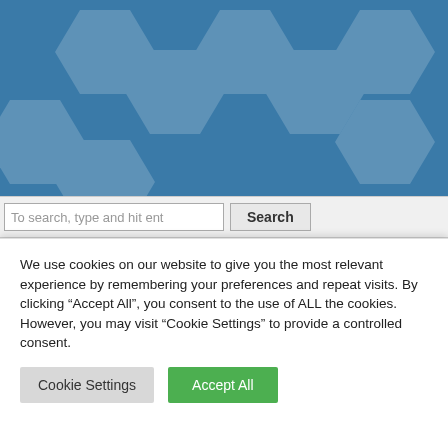[Figure (screenshot): Website header with blue geometric hexagon background]
To search, type and hit ent
Search
[Figure (screenshot): Blue hexagonal geometric pattern background area]
Project Facts
We use cookies on our website to give you the most relevant experience by remembering your preferences and repeat visits. By clicking “Accept All”, you consent to the use of ALL the cookies. However, you may visit “Cookie Settings” to provide a controlled consent.
Cookie Settings
Accept All